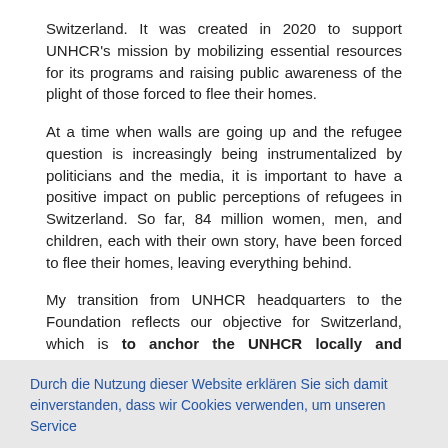Switzerland. It was created in 2020 to support UNHCR's mission by mobilizing essential resources for its programs and raising public awareness of the plight of those forced to flee their homes.
At a time when walls are going up and the refugee question is increasingly being instrumentalized by politicians and the media, it is important to have a positive impact on public perceptions of refugees in Switzerland. So far, 84 million women, men, and children, each with their own story, have been forced to flee their homes, leaving everything behind.
My transition from UNHCR headquarters to the Foundation reflects our objective for Switzerland, which is to anchor the UNHCR locally and enhance our proximity with the private sector and civil society
Durch die Nutzung dieser Website erklären Sie sich damit einverstanden, dass wir Cookies verwenden, um unseren Service